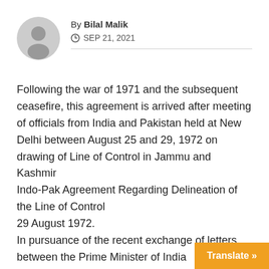By Bilal Malik
SEP 21, 2021
Following the war of 1971 and the subsequent ceasefire, this agreement is arrived after meeting of officials from India and Pakistan held at New Delhi between August 25 and 29, 1972 on drawing of Line of Control in Jammu and Kashmir
Indo-Pak Agreement Regarding Delineation of the Line of Control
29 August 1972.
In pursuance of the recent exchange of letters between the Prime Minister of India
Translate »